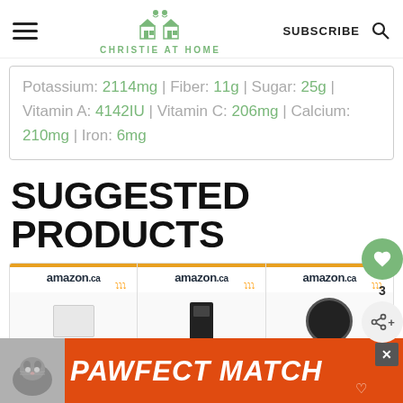CHRISTIE AT HOME
Potassium: 2114mg | Fiber: 11g | Sugar: 25g | Vitamin A: 4142IU | Vitamin C: 206mg | Calcium: 210mg | Iron: 6mg
SUGGESTED PRODUCTS
[Figure (screenshot): Three Amazon.ca product thumbnail cards showing products for sale]
[Figure (advertisement): PAWFECT MATCH orange ad banner with cat image at bottom of page]